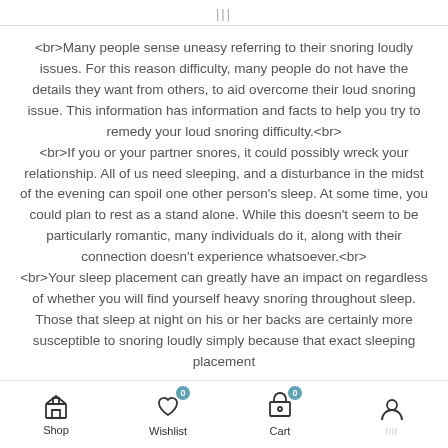|||
<br>Many people sense uneasy referring to their snoring loudly issues. For this reason difficulty, many people do not have the details they want from others, to aid overcome their loud snoring issue. This information has information and facts to help you try to remedy your loud snoring difficulty.<br>
<br>If you or your partner snores, it could possibly wreck your relationship. All of us need sleeping, and a disturbance in the midst of the evening can spoil one other person's sleep. At some time, you could plan to rest as a stand alone. While this doesn't seem to be particularly romantic, many individuals do it, along with their connection doesn't experience whatsoever.<br>
<br>Your sleep placement can greatly have an impact on regardless of whether you will find yourself heavy snoring throughout sleep. Those that sleep at night on his or her backs are certainly more susceptible to snoring loudly simply because that exact sleeping placement continues to be in the neck, which can lead to heavy
Shop  Wishlist 0  Cart 0  [account]